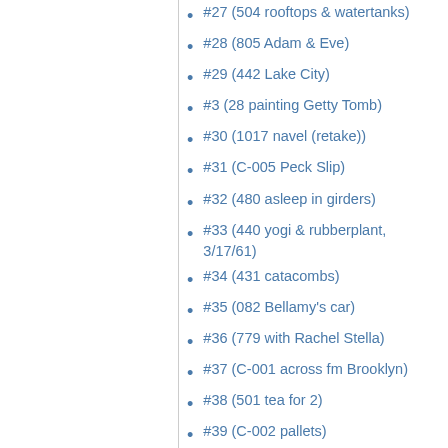#27 (504 rooftops & watertanks)
#28 (805 Adam & Eve)
#29 (442 Lake City)
#3 (28 painting Getty Tomb)
#30 (1017 navel (retake))
#31 (C-005 Peck Slip)
#32 (480 asleep in girders)
#33 (440 yogi & rubberplant, 3/17/61)
#34 (431 catacombs)
#35 (082 Bellamy's car)
#36 (779 with Rachel Stella)
#37 (C-001 across fm Brooklyn)
#38 (501 tea for 2)
#39 (C-002 pallets)
#4 (358 groinwork @ City Hall Annex)
#40 (029 PU Gym)
#41 (489 snake pit)
#42 (163 Cedar Street Tavern)
#43 (479 swivel chair, water tower)
#44 (691 West Side Story)
#46 (494 silhouette)